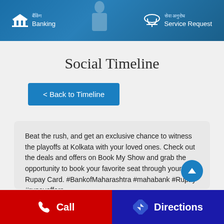[Figure (screenshot): Header banner with blue gradient background showing a person using a phone, with Banking icon on left and Service Request icon on right]
Social Timeline
< Back to Timeline
Beat the rush, and get an exclusive chance to witness the playoffs at Kolkata with your loved ones. Check out the deals and offers on Book My Show and grab the opportunity to book your favorite seat through your Rupay Card. #BankofMaharashtra #mahabank #Rupay #rupayoffers
#BankofMaharashtra
#mahabank
#Rupay
Call    Directions